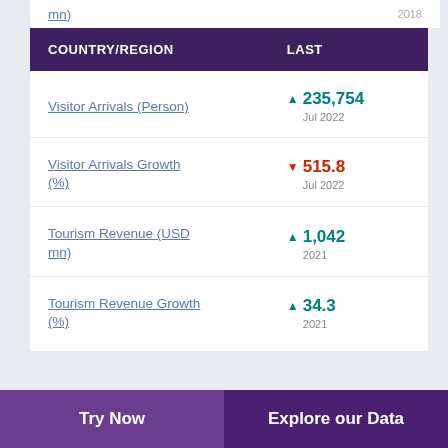mn)
2018
| COUNTRY/REGION | LAST |
| --- | --- |
| Visitor Arrivals (Person) | ▲ 235,754 Jul 2022 |
| Visitor Arrivals Growth (%) | ▼ 515.8 Jul 2022 |
| Tourism Revenue (USD mn) | ▲ 1,042 2021 |
| Tourism Revenue Growth (%) | ▲ 34.3 2021 |
Try Now    Explore our Data